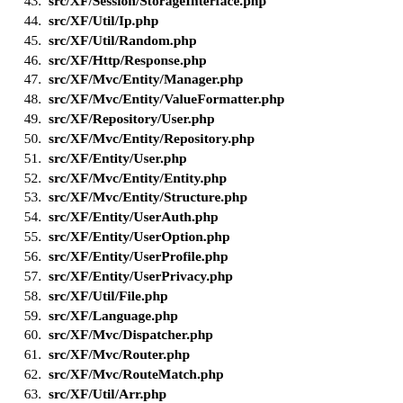43. src/XF/Session/StorageInterface.php
44. src/XF/Util/Ip.php
45. src/XF/Util/Random.php
46. src/XF/Http/Response.php
47. src/XF/Mvc/Entity/Manager.php
48. src/XF/Mvc/Entity/ValueFormatter.php
49. src/XF/Repository/User.php
50. src/XF/Mvc/Entity/Repository.php
51. src/XF/Entity/User.php
52. src/XF/Mvc/Entity/Entity.php
53. src/XF/Mvc/Entity/Structure.php
54. src/XF/Entity/UserAuth.php
55. src/XF/Entity/UserOption.php
56. src/XF/Entity/UserProfile.php
57. src/XF/Entity/UserPrivacy.php
58. src/XF/Util/File.php
59. src/XF/Language.php
60. src/XF/Mvc/Dispatcher.php
61. src/XF/Mvc/Router.php
62. src/XF/Mvc/RouteMatch.php
63. src/XF/Util/Arr.php
64. src/XF/Mvc/ParameterBag.php
65. src/XF/Pub/Controller/Member.php
66. src/XF/Pub/Controller/AbstractController.php
67. src/XF/Mvc/Controller.php
68. src/XF/Util/Php.php